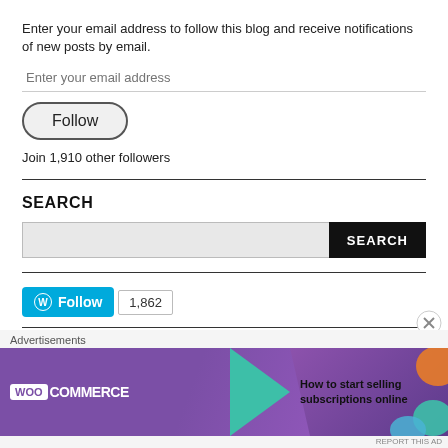Enter your email address to follow this blog and receive notifications of new posts by email.
Join 1,910 other followers
SEARCH
[Figure (screenshot): WordPress Follow button with follower count 1,862]
[Figure (illustration): WooCommerce advertisement banner: How to start selling subscriptions online]
Advertisements